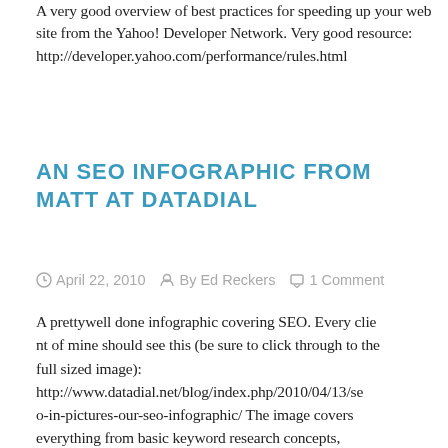A very good overview of best practices for speeding up your web site from the Yahoo! Developer Network. Very good resource: http://developer.yahoo.com/performance/rules.html
AN SEO INFOGRAPHIC FROM MATT AT DATADIAL
April 22, 2010  By Ed Reckers  1 Comment
A prettywell done infographic covering SEO. Every client of mine should see this (be sure to click through to the full sized image): http://www.datadial.net/blog/index.php/2010/04/13/seo-in-pictures-our-seo-infographic/ The image covers everything from basic keyword research concepts, through site architecture, page optimization, link …